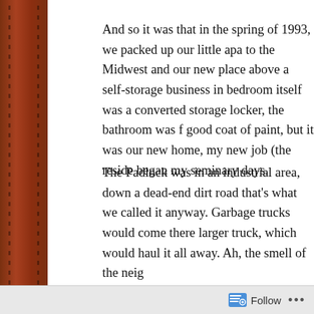And so it was that in the spring of 1993, we packed up our little apart to the Midwest and our new place above a self-storage business in bedroom itself was a converted storage locker, the bathroom was fu good coat of paint, but it was our new home, my new job (the reside began my seminary days.
The Padlock was in an industrial area, down a dead-end dirt road a that's what we called it anyway. Garbage trucks would come there d larger truck, which would haul it all away. Ah, the smell of the neigh
With her Master's Degree in Human Development and Family Studi for The Children's Home and Aid Society, a company that contracted Services. Her job was family reunification; the gist of it was that she been repeatedly accused of abuse or neglect. It was a tough job – h open arms at the homes she visited, but she was finally working in h secretary in Northern Virginia.
So our new life was filled with the standard hardships of a couple st future seemed bright.